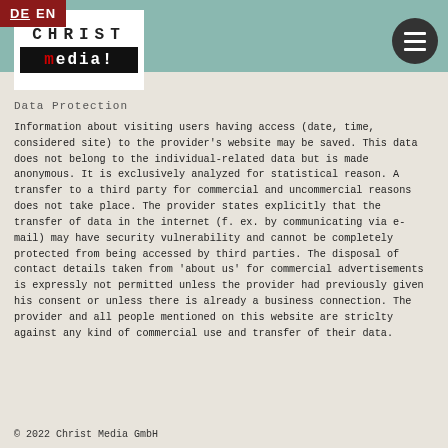DE EN
[Figure (logo): Christ Media! logo — white box with 'CHRIST' in monospace above a black bar with 'media!' in white/red monospace]
Data Protection
Information about visiting users having access (date, time, considered site) to the provider's website may be saved. This data does not belong to the individual-related data but is made anonymous. It is exclusively analyzed for statistical reason. A transfer to a third party for commercial and uncommercial reasons does not take place. The provider states explicitly that the transfer of data in the internet (f. ex. by communicating via e-mail) may have security vulnerability and cannot be completely protected from being accessed by third parties. The disposal of contact details taken from 'about us' for commercial advertisements is expressly not permitted unless the provider had previously given his consent or unless there is already a business connection. The provider and all people mentioned on this website are striclty against any kind of commercial use and transfer of their data.
© 2022 Christ Media GmbH